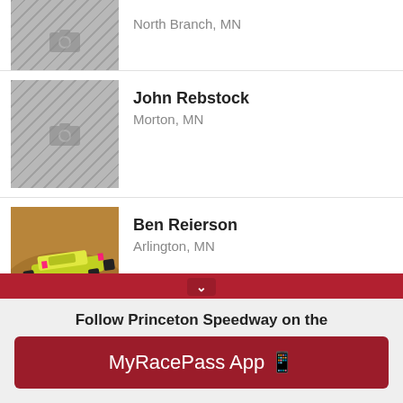[Figure (photo): Partial driver row with placeholder photo thumbnail at top of list]
North Branch, MN
[Figure (photo): Placeholder camera icon thumbnail for John Rebstock]
John Rebstock
Morton, MN
[Figure (photo): Racing car on dirt track photo for Ben Reierson]
Ben Reierson
Arlington, MN
[Figure (photo): Portrait photo of Cam Reimers in Mystik racing suit]
Cam Reimers
KELLEY, IA
Follow Princeton Speedway on the
MyRacePass App